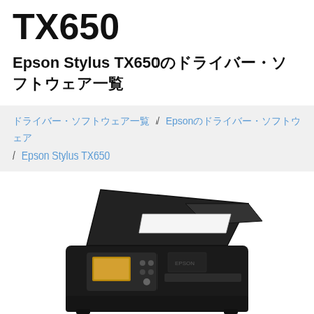TX650
Epson Stylus TX650のドライバー・ソフトウェア一覧
ドライバー・ソフトウェア一覧 / Epsonのドライバー・ソフトウェア / Epson Stylus TX650
[Figure (photo): Photo of the Epson Stylus TX650 all-in-one inkjet printer, black color, shown from a front-angle view with lid open.]